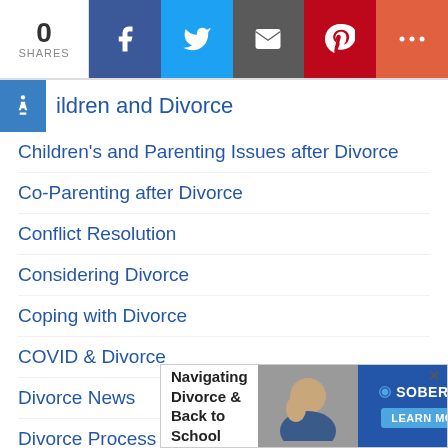0 SHARES | Facebook | Twitter | Email | Pinterest | More
Children and Divorce
Children's and Parenting Issues after Divorce
Co-Parenting after Divorce
Conflict Resolution
Considering Divorce
Coping with Divorce
COVID & Divorce
Divorce News
Divorce Process
Divorce Recovery
Financial…
[Figure (infographic): Advertisement banner: Navigating Divorce & Back to School with SOBERLINK logo and LEARN MORE button, with a close (x) button]